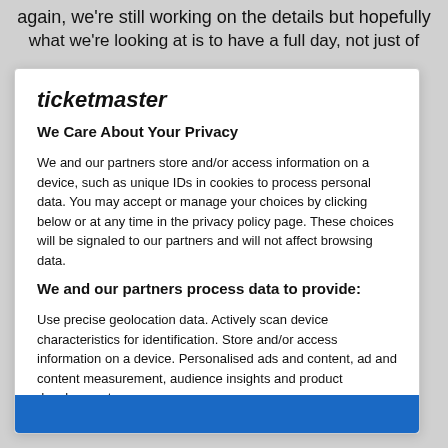again, we're still working on the details but hopefully what we're looking at is to have a full day, not just of
ticketmaster
We Care About Your Privacy
We and our partners store and/or access information on a device, such as unique IDs in cookies to process personal data. You may accept or manage your choices by clicking below or at any time in the privacy policy page. These choices will be signaled to our partners and will not affect browsing data.
We and our partners process data to provide:
Use precise geolocation data. Actively scan device characteristics for identification. Store and/or access information on a device. Personalised ads and content, ad and content measurement, audience insights and product development.
List of Partners (vendors)